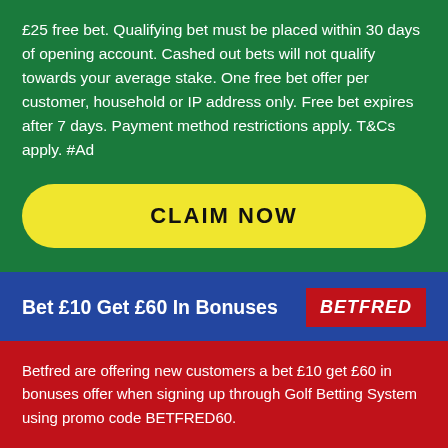£25 free bet. Qualifying bet must be placed within 30 days of opening account. Cashed out bets will not qualify towards your average stake. One free bet offer per customer, household or IP address only. Free bet expires after 7 days. Payment method restrictions apply. T&Cs apply. #Ad
CLAIM NOW
Bet £10 Get £60 In Bonuses
[Figure (logo): BETFRED logo in white italic bold text on red background]
Betfred are offering new customers a bet £10 get £60 in bonuses offer when signing up through Golf Betting System using promo code BETFRED60.
Significant terms: New UK customers only. Register using the promo code BETFRED60, deposit and place first bet of £10+ on Sports (cumulative Evens+). First bet must be on Sports. £20 in Free Bets to be used on Sports, £10 in Free Bets to be used on Lotto and 50 Free Spins (20p per spin) credited within 48 hours